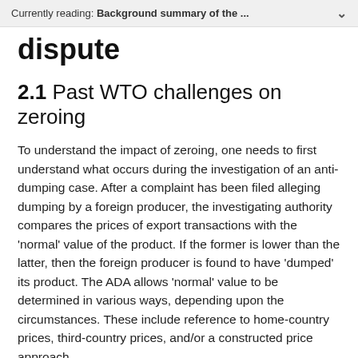Currently reading: Background summary of the ...
dispute
2.1 Past WTO challenges on zeroing
To understand the impact of zeroing, one needs to first understand what occurs during the investigation of an anti-dumping case. After a complaint has been filed alleging dumping by a foreign producer, the investigating authority compares the prices of export transactions with the 'normal' value of the product. If the former is lower than the latter, then the foreign producer is found to have 'dumped' its product. The ADA allows 'normal' value to be determined in various ways, depending upon the circumstances. These include reference to home-country prices, third-country prices, and/or a constructed price approach.